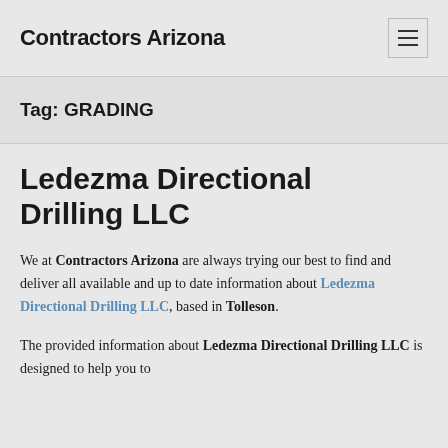Contractors Arizona
Tag: GRADING
Ledezma Directional Drilling LLC
We at Contractors Arizona are always trying our best to find and deliver all available and up to date information about Ledezma Directional Drilling LLC, based in Tolleson.
The provided information about Ledezma Directional Drilling LLC is designed to help you to